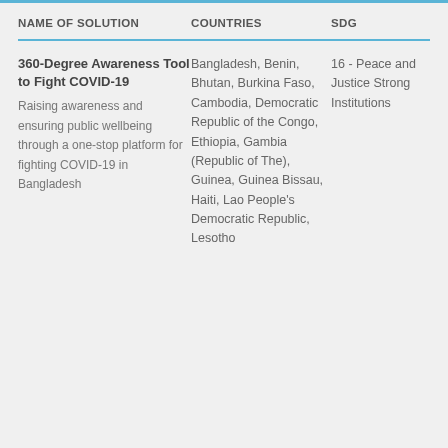| NAME OF SOLUTION | COUNTRIES | SDG |
| --- | --- | --- |
| 360-Degree Awareness Tool to Fight COVID-19
Raising awareness and ensuring public wellbeing through a one-stop platform for fighting COVID-19 in Bangladesh | Bangladesh, Benin, Bhutan, Burkina Faso, Cambodia, Democratic Republic of the Congo, Ethiopia, Gambia (Republic of The), Guinea, Guinea Bissau, Haiti, Lao People's Democratic Republic, Lesotho | 16 - Peace and Justice Strong Institutions |